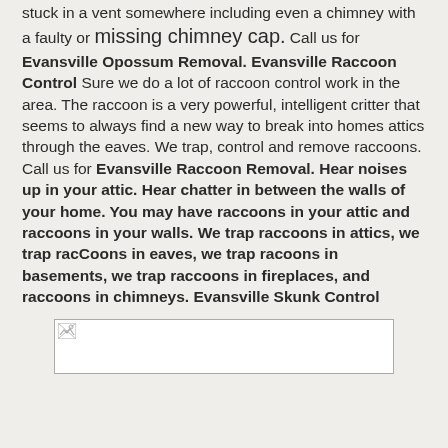stuck in a vent somewhere including even a chimney with a faulty or missing chimney cap. Call us for Evansville Opossum Removal. Evansville Raccoon Control Sure we do a lot of raccoon control work in the area. The raccoon is a very powerful, intelligent critter that seems to always find a new way to break into homes attics through the eaves. We trap, control and remove raccoons. Call us for Evansville Raccoon Removal. Hear noises up in your attic. Hear chatter in between the walls of your home. You may have raccoons in your attic and raccoons in your walls. We trap raccoons in attics, we trap racCoons in eaves, we trap racoons in basements, we trap raccoons in fireplaces, and raccoons in chimneys. Evansville Skunk Control
[Figure (photo): A broken/missing image placeholder shown as a small bordered rectangle with a broken image icon in the top-left corner.]